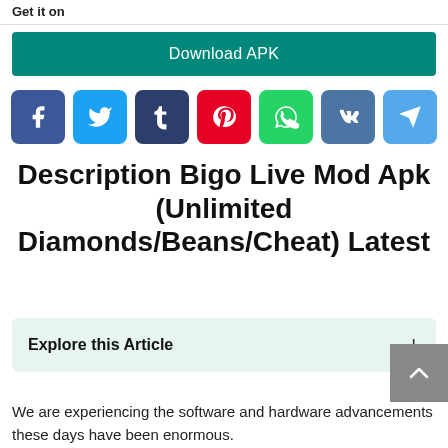Get it on
Download APK
[Figure (infographic): Row of 7 social media share buttons: Facebook (blue), Twitter (light blue), Tumblr (dark blue), Pinterest (red), WhatsApp (green), VK (steel blue), Telegram (sky blue)]
Description Bigo Live Mod Apk (Unlimited Diamonds/Beans/Cheat) Latest
Explore this Article
We are experiencing the software and hardware advancements these days have been enormous.